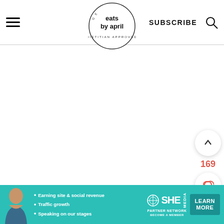eats by april — DIETITIAN APPROVED
SUBSCRIBE
Comments
169
[Figure (infographic): Advertisement banner for SHE Partner Network with a woman's photo, bullet points: Earning site & social revenue, Traffic growth, Speaking on our stages, SHE logo, BECOME A MEMBER, LEARN MORE button]